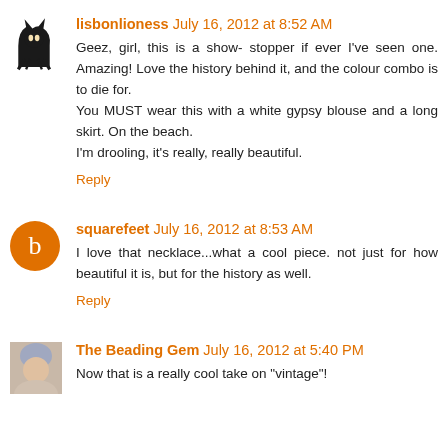lisbonlioness July 16, 2012 at 8:52 AM
Geez, girl, this is a show- stopper if ever I've seen one. Amazing! Love the history behind it, and the colour combo is to die for.
You MUST wear this with a white gypsy blouse and a long skirt. On the beach.
I'm drooling, it's really, really beautiful.
Reply
squarefeet July 16, 2012 at 8:53 AM
I love that necklace...what a cool piece. not just for how beautiful it is, but for the history as well.
Reply
The Beading Gem July 16, 2012 at 5:40 PM
Now that is a really cool take on "vintage"!